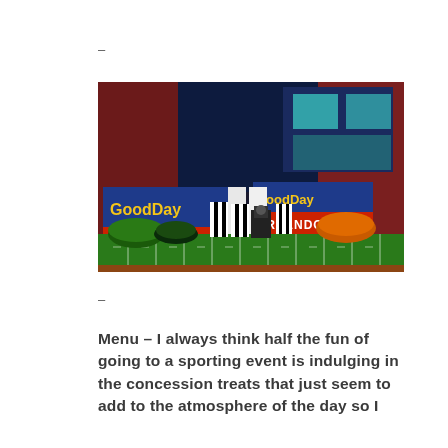–
[Figure (photo): A food display table set up in a TV studio with 'Good Day Orlando' branding banners. The table is decorated like a football field with green turf and yard lines. Various food items are displayed including popcorn containers, decorated cakes, and colorful snacks. Two 'Good Day Orlando' signs are visible in the background.]
–
Menu – I always think half the fun of going to a sporting event is indulging in the concession treats that just seem to add to the atmosphere of the day so I